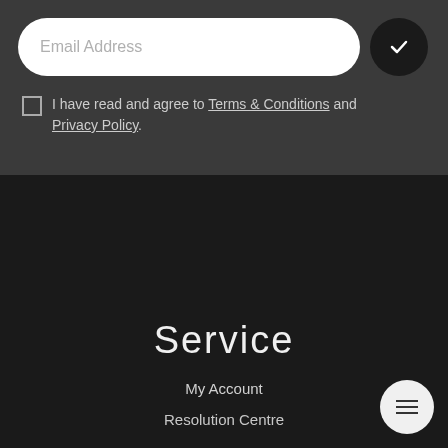Email Address
I have read and agree to Terms & Conditions and Privacy Policy.
Service
My Account
Resolution Centre